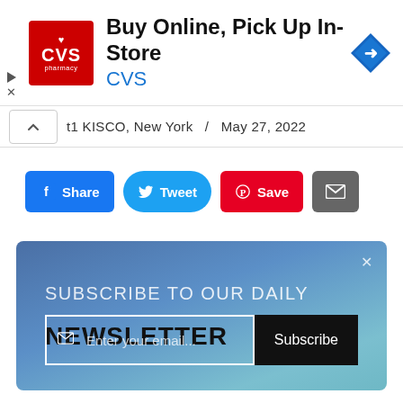[Figure (logo): CVS Pharmacy logo — red square with white heart and CVS text]
Buy Online, Pick Up In-Store
CVS
t1 KISCO, New York / May 27, 2022
Share  Tweet  Save  [email]
SUBSCRIBE TO OUR DAILY NEWSLETTER